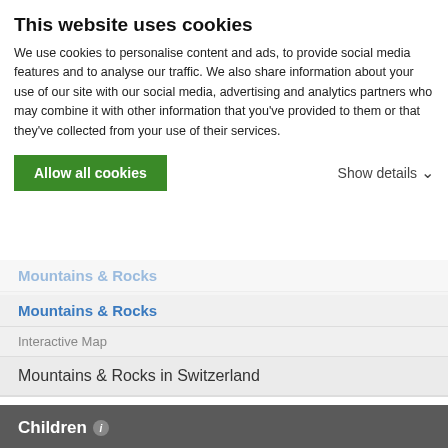VIEW SPANISH IMAGE GALLERY - 46 IMAGES
This website uses cookies
We use cookies to personalise content and ads, to provide social media features and to analyse our traffic. We also share information about your use of our site with our social media, advertising and analytics partners who may combine it with other information that you've provided to them or that they've collected from your use of their services.
Allow all cookies
Show details
Mountains & Rocks
Interactive Map
Mountains & Rocks in Switzerland
Children
1 Routes
South ridge
Parents
Uri Alps Group
Mountains & Rocks